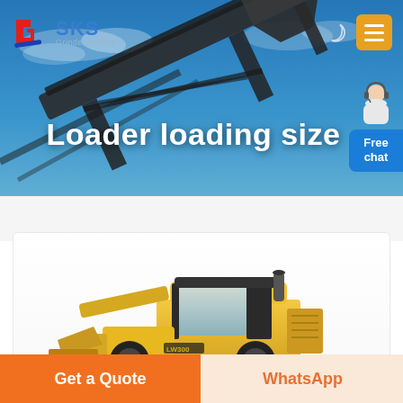[Figure (screenshot): SKS Grinder Expert website screenshot showing a loader loading size page with header navigation, hero image with conveyor/crusher equipment, loader machine photo, and CTA buttons]
Loader loading size
Free chat
Get a Quote
WhatsApp